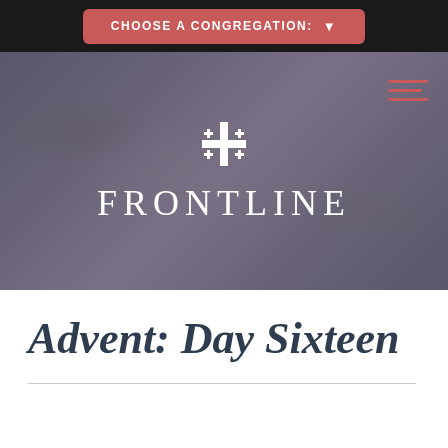[Figure (screenshot): Navigation bar with red 'CHOOSE A CONGREGATION:' button with dropdown arrow on dark background]
[Figure (logo): Frontline church logo: Jerusalem cross icon above the word FRONTLINE in white capital letters on a dark purple-grey textured background, with red hamburger menu icon in top right]
Advent: Day Sixteen